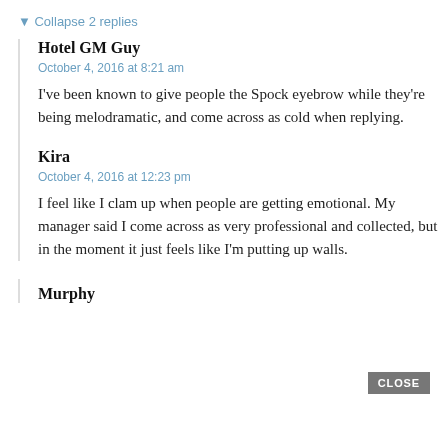▼ Collapse 2 replies
Hotel GM Guy
October 4, 2016 at 8:21 am
I've been known to give people the Spock eyebrow while they're being melodramatic, and come across as cold when replying.
Kira
October 4, 2016 at 12:23 pm
I feel like I clam up when people are getting emotional. My manager said I come across as very professional and collected, but in the moment it just feels like I'm putting up walls.
CLOSE
Murphy